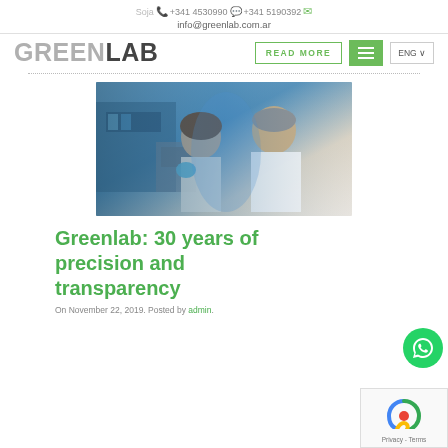Soja 🌿 📞 +341 4530990 💬 +341 5190392 ✉ info@greenlab.com.ar
[Figure (logo): GREENLAB logo with green and gray lettering]
[Figure (photo): Two laboratory workers in white coats working with lab equipment]
Greenlab: 30 years of precision and transparency
On November 22, 2019. Posted by admin.